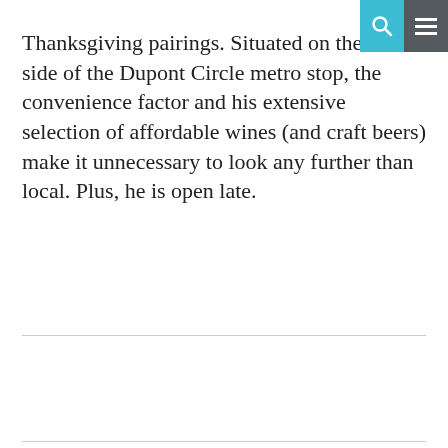search menu
Thanksgiving pairings. Situated on the north side of the Dupont Circle metro stop, the convenience factor and his extensive selection of affordable wines (and craft beers) make it unnecessary to look any further than local. Plus, he is open late.